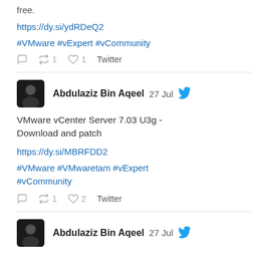free.
https://dy.si/ydRDeQ2
#VMware #vExpert #vCommunity
1  1  Twitter
Abdulaziz Bin Aqeel  27 Jul
VMware vCenter Server 7.03 U3g - Download and patch
https://dy.si/MBRFDD2
#VMware #VMwaretam #vExpert #vCommunity
1  2  Twitter
Abdulaziz Bin Aqeel  27 Jul